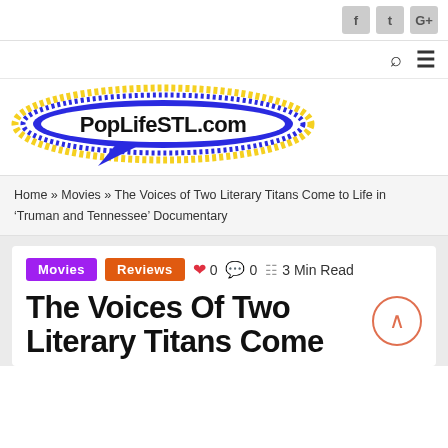Social icons: f, t, G+; Search and menu icons
[Figure (logo): PopLifeSTL.com logo — speech bubble shape with blue and yellow dotted border, bold black text 'PopLifeSTL.com' inside]
Home » Movies » The Voices of Two Literary Titans Come to Life in 'Truman and Tennessee' Documentary
Movies  Reviews  ♥ 0  💬 0  3 Min Read
The Voices Of Two Literary Titans Come